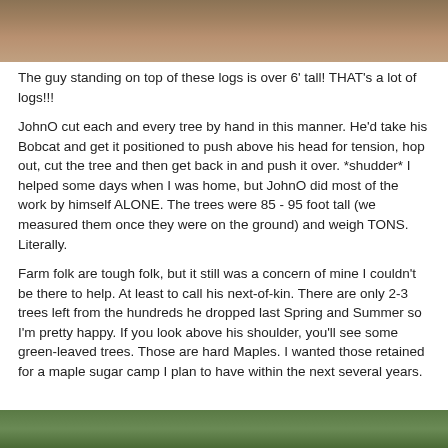[Figure (photo): Top portion of a photograph showing large logs, partial view, brownish tone]
The guy standing on top of these logs is over 6' tall!  THAT's a lot of logs!!!
JohnO cut each and every tree by hand in this manner.  He'd take his Bobcat and get it positioned to push above his head for tension, hop out, cut the tree and then get back in and push it over.  *shudder*  I helped some days when I was home, but JohnO did most of the work by himself ALONE.  The trees were 85 - 95 foot tall (we measured them once they were on the ground) and weigh TONS.  Literally.
Farm folk are tough folk, but it still was a concern of mine I couldn't be there to help.  At least to call his next-of-kin.  There are only 2-3 trees left from the hundreds he dropped last Spring and Summer so I'm pretty happy.  If you look above his shoulder, you'll see some green-leaved trees.  Those are hard Maples.  I wanted those retained for a maple sugar camp I plan to have within the next several years.
[Figure (photo): Bottom portion of a photograph showing green-leaved trees and outdoor scene]